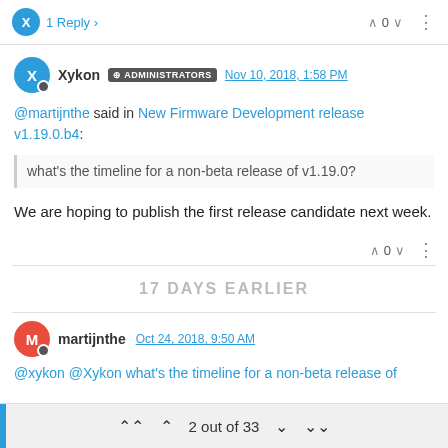1 Reply
Xykon ADMINISTRATORS Nov 10, 2018, 1:58 PM
@martijnthe said in New Firmware Development release v1.19.0.b4:
what's the timeline for a non-beta release of v1.19.0?
We are hoping to publish the first release candidate next week.
17 DAYS EARLIER
martijnthe Oct 24, 2018, 9:50 AM
2 out of 33